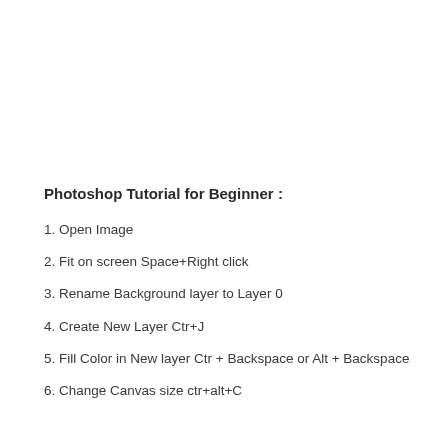Photoshop Tutorial for Beginner :
1. Open Image
2. Fit on screen Space+Right click
3. Rename Background layer to Layer 0
4. Create New Layer Ctr+J
5. Fill Color in New layer Ctr + Backspace or Alt + Backspace
6. Change Canvas size ctr+alt+C